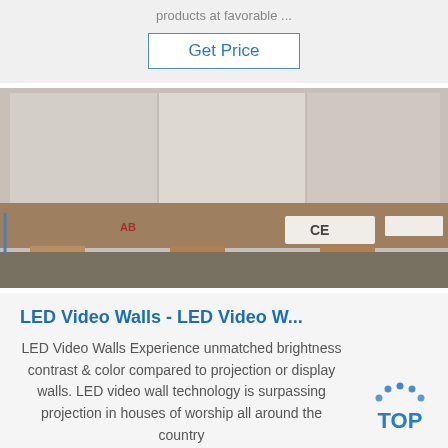products at favorable ...
Get Price
[Figure (photo): Wooden pallet with packaged flat product on a concrete floor, showing CE certification label]
LED Video Walls - LED Video W...
LED Video Walls Experience unmatched brightness contrast & color compared to projection or display walls. LED video wall technology is surpassing projection in houses of worship all around the country
[Figure (logo): TOP badge logo with blue dots arc and bold TOP text]